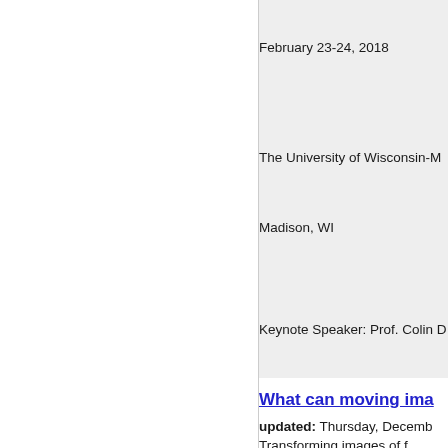February 23-24, 2018
The University of Wisconsin-M
Madison, WI
Keynote Speaker: Prof. Colin D
What can moving ima
updated: Thursday, Decemb
Transforming images of f